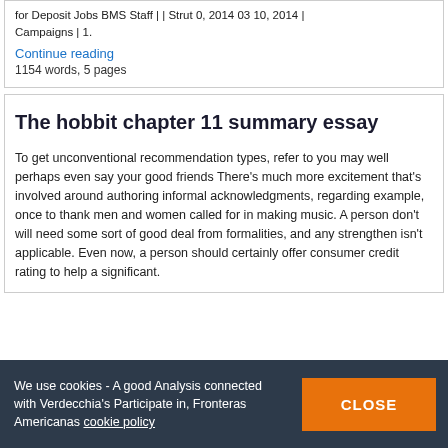for Deposit Jobs BMS Staff | | Strut 0, 2014 03 10, 2014 | Campaigns | 1.
Continue reading
1154 words, 5 pages
The hobbit chapter 11 summary essay
To get unconventional recommendation types, refer to you may well perhaps even say your good friends There's much more excitement that's involved around authoring informal acknowledgments, regarding example, once to thank men and women called for in making music. A person don't will need some sort of good deal from formalities, and any strengthen isn't applicable. Even now, a person should certainly offer consumer credit rating to help a significant.
We use cookies - A good Analysis connected with Verdecchia's Participate in, Fronteras Americanas cookie policy